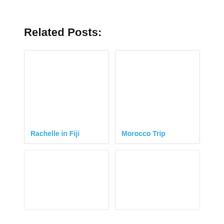Related Posts:
Rachelle in Fiji
Morocco Trip